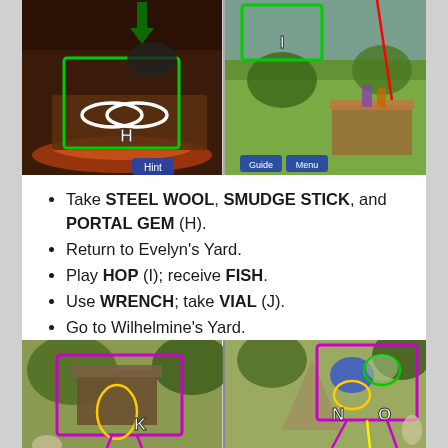[Figure (screenshot): Two side-by-side game screenshots. Left: dark room with green rectangle box highlighting items on a table with white rings (labeled H) and a green arrow pointing down. Right: outdoor garden scene with a green rectangle (labeled I), a red diagonal line, and game UI buttons 'Hint' and 'Menu'.]
Take STEEL WOOL, SMUDGE STICK, and PORTAL GEM (H).
Return to Evelyn's Yard.
Play HOP (I); receive FISH.
Use WRENCH; take VIAL (J).
Go to Wilhelmine's Yard.
[Figure (screenshot): Two side-by-side game screenshots of a forest/yard scene. Left: treehouse with magenta rectangle (labeled K) and yellow circle highlighting a gate/ladder area. Right: forest scene with magenta rectangle (labeled N and O), green circle, yellow circle, and magenta lines pointing to items.]